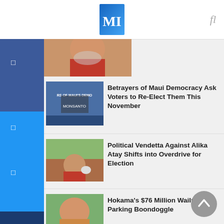MI
[Figure (photo): Partial photo of a man in a red shirt at the top of the article list]
Betrayers of Maui Democracy Ask Voters to Re-Elect Them This November
Political Vendetta Against Alika Atay Shifts into Overdrive for Election
Hokama's $76 Million Wailuku Parking Boondoggle
Out of State Real Estate Donors Back Incumbent Stacey Crivello to Expand Mokoka'i Short Term Rentals